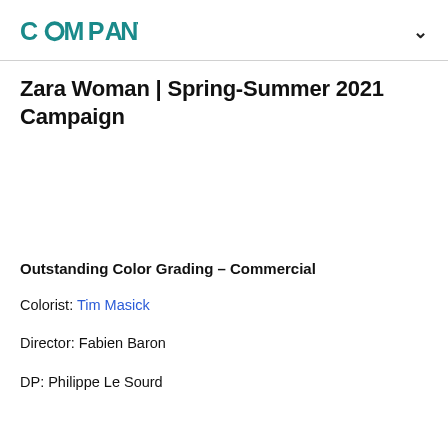COMPANY3
Zara Woman | Spring-Summer 2021 Campaign
Outstanding Color Grading – Commercial
Colorist: Tim Masick
Director: Fabien Baron
DP: Philippe Le Sourd